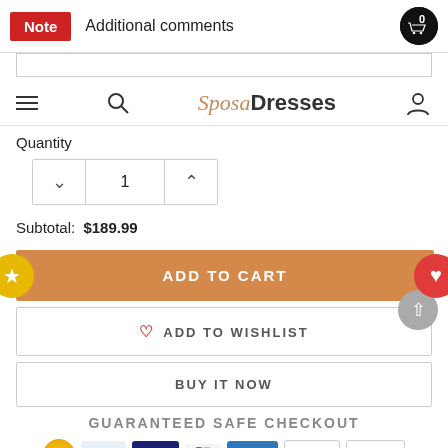Note  Additional comments
[Figure (screenshot): SpesaDresses website navigation bar with hamburger menu, search icon, brand logo, and user icon]
Quantity
[Figure (other): Quantity selector showing value 1 with decrease and increase buttons]
Subtotal: $189.99
[Figure (other): ADD TO CART orange button with star circle on left and heart circle on right]
[Figure (other): ADD TO WISHLIST button]
[Figure (other): BUY IT NOW button]
GUARANTEED SAFE CHECKOUT
[Figure (other): Payment icons: PayPal, VISA, Mastercard, American Express, Discover, McAfee]